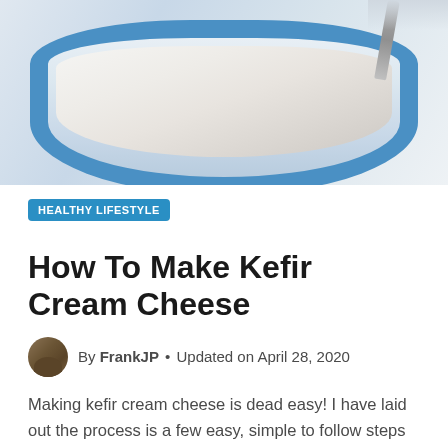[Figure (photo): A blue bowl containing white cream cheese or kefir cream, with a spoon or utensil visible at the top right, against a light background.]
HEALTHY LIFESTYLE
How To Make Kefir Cream Cheese
By FrankJP • Updated on April 28, 2020
Making kefir cream cheese is dead easy! I have laid out the process is a few easy, simple to follow steps to help you produce your own versatile, healthier, pro-biotic cream cheese. What You Will…
READ MORE →